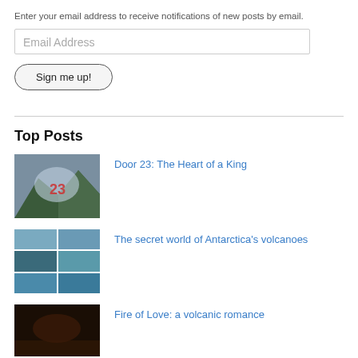Enter your email address to receive notifications of new posts by email.
Email Address
Sign me up!
Top Posts
[Figure (photo): Mountain landscape with number 23 overlaid]
Door 23: The Heart of a King
[Figure (photo): Grid of 6 Antarctica landscape photos]
The secret world of Antarctica's volcanoes
[Figure (photo): Dark volcanic landscape]
Fire of Love: a volcanic romance